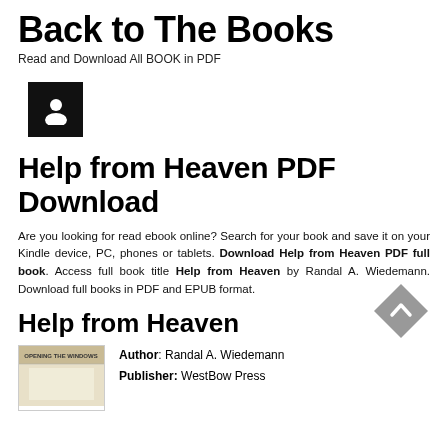Back to The Books
Read and Download All BOOK in PDF
[Figure (illustration): Black square avatar/user icon placeholder]
Help from Heaven PDF Download
Are you looking for read ebook online? Search for your book and save it on your Kindle device, PC, phones or tablets. Download Help from Heaven PDF full book. Access full book title Help from Heaven by Randal A. Wiedemann. Download full books in PDF and EPUB format.
Help from Heaven
[Figure (other): Gray scroll-up diamond button with chevron icon]
[Figure (photo): Book cover image showing 'OPENING THE WINDOWS' text on a light background]
Author: Randal A. Wiedemann
Publisher: WestBow Press